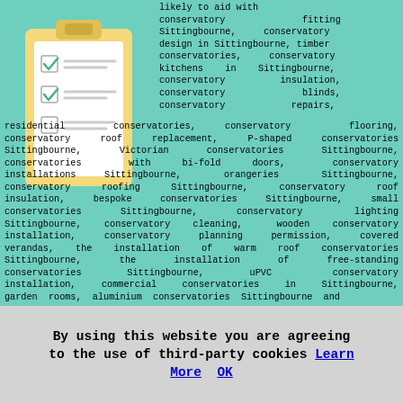[Figure (illustration): Clipboard with checklist showing two checked checkboxes (green checkmarks) and one unchecked checkbox]
likely to aid with conservatory fitting Sittingbourne, conservatory design in Sittingbourne, timber conservatories, conservatory kitchens in Sittingbourne, conservatory insulation, conservatory blinds, conservatory repairs, residential conservatories, conservatory flooring, conservatory roof replacement, P-shaped conservatories Sittingbourne, Victorian conservatories Sittingbourne, conservatories with bi-fold doors, conservatory installations Sittingbourne, orangeries Sittingbourne, conservatory roofing Sittingbourne, conservatory roof insulation, bespoke conservatories Sittingbourne, small conservatories Sittingbourne, conservatory lighting Sittingbourne, conservatory cleaning, wooden conservatory installation, conservatory planning permission, covered verandas, the installation of warm roof conservatories Sittingbourne, the installation of free-standing conservatories Sittingbourne, uPVC conservatory installation, commercial conservatories in Sittingbourne, garden rooms, aluminium conservatories Sittingbourne and
By using this website you are agreeing to the use of third-party cookies Learn More OK